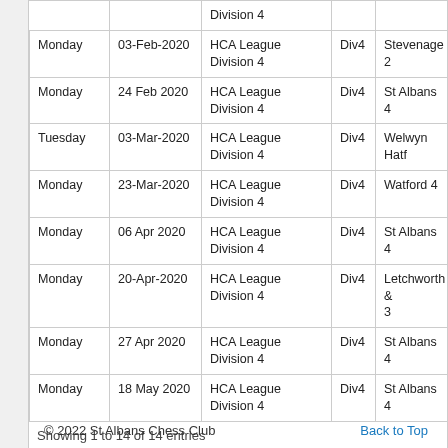| Day | Date | Competition | Div | Opponent |
| --- | --- | --- | --- | --- |
|  |  | Division 4 |  |  |
| Monday | 03-Feb-2020 | HCA League Division 4 | Div4 | Stevenage 2 |
| Monday | 24 Feb 2020 | HCA League Division 4 | Div4 | St Albans 4 |
| Tuesday | 03-Mar-2020 | HCA League Division 4 | Div4 | Welwyn Hatf |
| Monday | 23-Mar-2020 | HCA League Division 4 | Div4 | Watford 4 |
| Monday | 06 Apr 2020 | HCA League Division 4 | Div4 | St Albans 4 |
| Monday | 20-Apr-2020 | HCA League Division 4 | Div4 | Letchworth 8 3 |
| Monday | 27 Apr 2020 | HCA League Division 4 | Div4 | St Albans 4 |
| Monday | 18 May 2020 | HCA League Division 4 | Div4 | St Albans 4 |
Showing 1 to 14 of 14 entries
© 2022 St Albans Chess Club    Back to Top